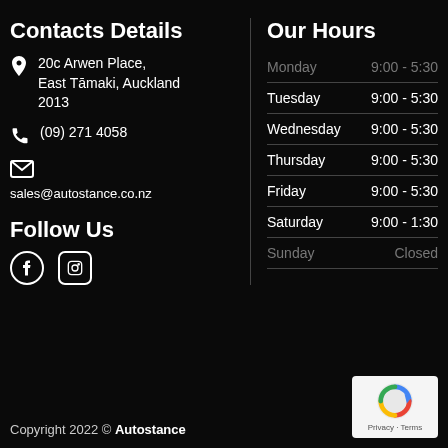Contacts Details
20c Arwen Place, East Tāmaki, Auckland 2013
(09) 271 4058
sales@autostance.co.nz
Our Hours
Monday 9:00 - 5:30
Tuesday 9:00 - 5:30
Wednesday 9:00 - 5:30
Thursday 9:00 - 5:30
Friday 9:00 - 5:30
Saturday 9:00 - 1:30
Sunday Closed
Follow Us
[Figure (logo): Facebook and Instagram social media icons]
Copyright 2022 © Autostance
[Figure (logo): reCAPTCHA badge with Privacy and Terms links]